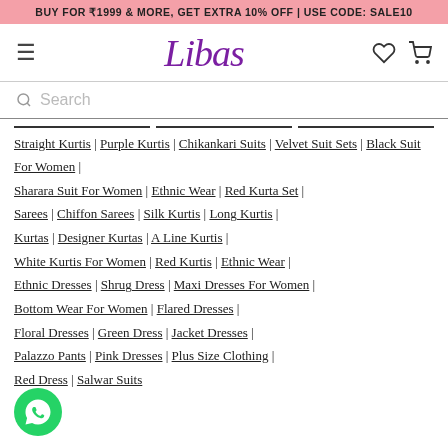BUY FOR ₹1999 & MORE, GET EXTRA 10% OFF | USE CODE: SALE10
Libas
Search
Straight Kurtis | Purple Kurtis | Chikankari Suits | Velvet Suit Sets | Black Suit For Women | Sharara Suit For Women | Ethnic Wear | Red Kurta Set | Sarees | Chiffon Sarees | Silk Kurtis | Long Kurtis | Kurtas | Designer Kurtas | A Line Kurtis | White Kurtis For Women | Red Kurtis | Ethnic Wear | Ethnic Dresses | Shrug Dress | Maxi Dresses For Women | Bottom Wear For Women | Flared Dresses | Floral Dresses | Green Dress | Jacket Dresses | Palazzo Pants | Pink Dresses | Plus Size Clothing | Red Dress | Salwar Suits